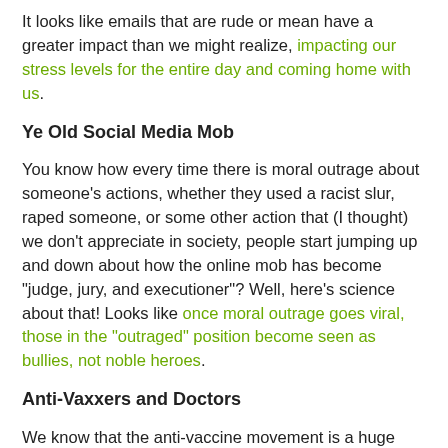It looks like emails that are rude or mean have a greater impact than we might realize, impacting our stress levels for the entire day and coming home with us.
Ye Old Social Media Mob
You know how every time there is moral outrage about someone's actions, whether they used a racist slur, raped someone, or some other action that (I thought) we don't appreciate in society, people start jumping up and down about how the online mob has become "judge, jury, and executioner"? Well, here's science about that! Looks like once moral outrage goes viral, those in the "outraged" position become seen as bullies, not noble heroes.
Anti-Vaxxers and Doctors
We know that the anti-vaccine movement is a huge issue in public health today, and new research suggests that parents who are against vaccines actually believe that they know more than medical professionals about medical health.